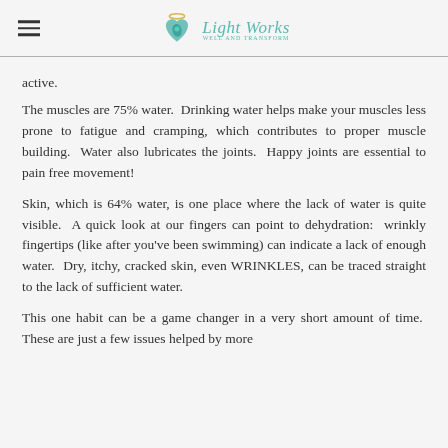Light Works
active.
The muscles are 75% water. Drinking water helps make your muscles less prone to fatigue and cramping, which contributes to proper muscle building. Water also lubricates the joints. Happy joints are essential to pain free movement!
Skin, which is 64% water, is one place where the lack of water is quite visible. A quick look at our fingers can point to dehydration: wrinkly fingertips (like after you've been swimming) can indicate a lack of enough water. Dry, itchy, cracked skin, even WRINKLES, can be traced straight to the lack of sufficient water.
This one habit can be a game changer in a very short amount of time. These are just a few issues helped by more